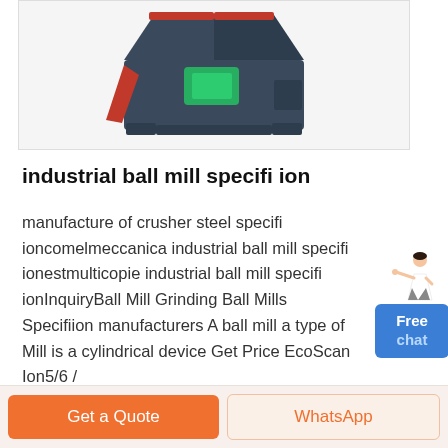[Figure (photo): Industrial ball mill / crusher machine, dark blue heavy machinery with red components and green motor, shown against white background within a grey bordered card]
industrial ball mill specifi ion
manufacture of crusher steel specifi ioncomelmeccanica industrial ball mill specifi ionestmulticopie industrial ball mill specifi ionInquiryBall Mill Grinding Ball Mills Specifiion manufacturers A ball mill a type of Mill is a cylindrical device Get Price EcoScan Ion5/6 /
Get Price
[Figure (illustration): Small illustration of a woman in white blouse pointing, with a blue Free chat button below her]
Get a Quote
WhatsApp